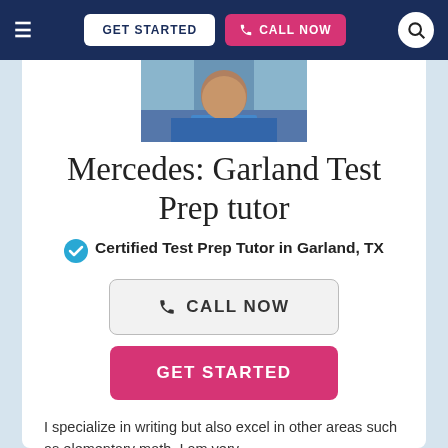GET STARTED  CALL NOW
[Figure (photo): Partial profile photo of tutor Mercedes, showing shoulders and blue clothing]
Mercedes: Garland Test Prep tutor
Certified Test Prep Tutor in Garland, TX
CALL NOW
GET STARTED
I specialize in writing but also excel in other areas such as elementary math. I am very